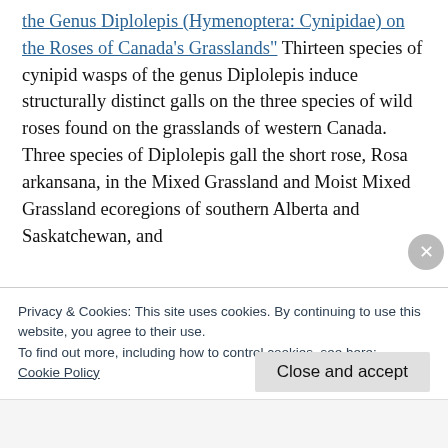the Genus Diplolepis (Hymenoptera: Cynipidae) on the Roses of Canada's Grasslands" Thirteen species of cynipid wasps of the genus Diplolepis induce structurally distinct galls on the three species of wild roses found on the grasslands of western Canada. Three species of Diplolepis gall the short rose, Rosa arkansana, in the Mixed Grassland and Moist Mixed Grassland ecoregions of southern Alberta and Saskatchewan, and
Privacy & Cookies: This site uses cookies. By continuing to use this website, you agree to their use. To find out more, including how to control cookies, see here: Cookie Policy
Close and accept